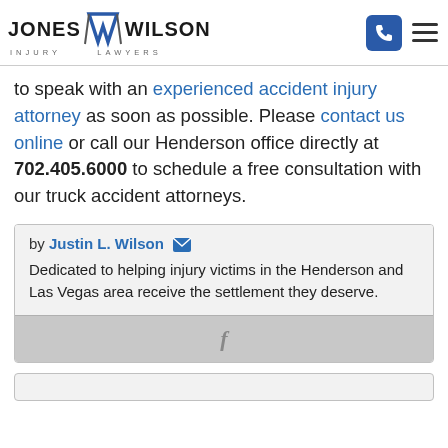Jones Wilson Injury Lawyers
to speak with an experienced accident injury attorney as soon as possible. Please contact us online or call our Henderson office directly at 702.405.6000 to schedule a free consultation with our truck accident attorneys.
by Justin L. Wilson
Dedicated to helping injury victims in the Henderson and Las Vegas area receive the settlement they deserve.